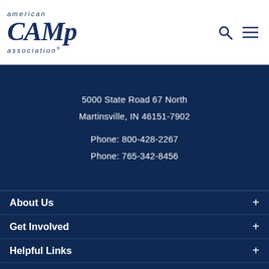[Figure (logo): American Camp Association logo with italic serif text]
5000 State Road 67 North
Martinsville, IN 46151-7902
Phone: 800-428-2267
Phone: 765-342-8456
About Us
Get Involved
Helpful Links
Stay Informed